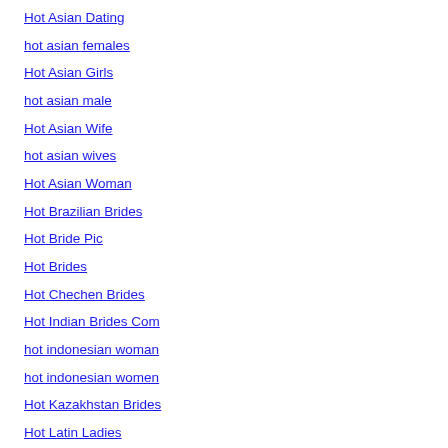Hot Asian Dating
hot asian females
Hot Asian Girls
hot asian male
Hot Asian Wife
hot asian wives
Hot Asian Woman
Hot Brazilian Brides
Hot Bride Pic
Hot Brides
Hot Chechen Brides
Hot Indian Brides Com
hot indonesian woman
hot indonesian women
Hot Kazakhstan Brides
Hot Latin Ladies
Hot Latin Women
Hot Mexican Brides
Hot Older Asian Women